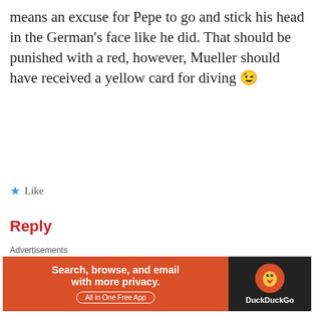means an excuse for Pepe to go and stick his head in the German's face like he did. That should be punished with a red, however, Mueller should have received a yellow card for diving 😉
★ Like
Reply
Jenna   July 30, 2014 8:30 am
[Figure (logo): Tottenham Hotspur crest logo]
As I've said before, if there's a foul and contact (there was both) there's no simulation.
Advertisements
[Figure (infographic): DuckDuckGo advertisement banner: Search, browse, and email with more privacy. All in One Free App]